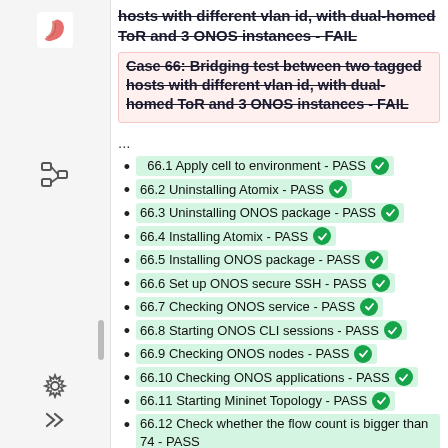hosts with different vlan id, with dual-homed ToR and 3 ONOS instances - FAIL (strikethrough)
Case 66: Bridging test between two tagged hosts with different vlan id, with dual-homed ToR and 3 ONOS instances - FAIL (strikethrough, in pink box)
...
66.1 Apply cell to environment - PASS
66.2 Uninstalling Atomix - PASS
66.3 Uninstalling ONOS package - PASS
66.4 Installing Atomix - PASS
66.5 Installing ONOS package - PASS
66.6 Set up ONOS secure SSH - PASS
66.7 Checking ONOS service - PASS
66.8 Starting ONOS CLI sessions - PASS
66.9 Checking ONOS nodes - PASS
66.10 Checking ONOS applications - PASS
66.11 Starting Mininet Topology - PASS
66.12 Check whether the flow count is bigger than 74 - PASS
66.13 Check whether all flow status are ADDED - PASS